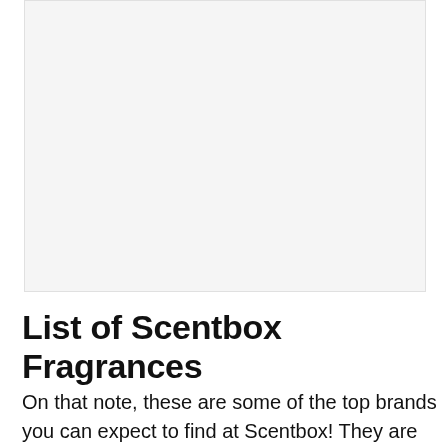[Figure (other): Large blank/placeholder image area with light grey background]
List of Scentbox Fragrances
On that note, these are some of the top brands you can expect to find at Scentbox! They are